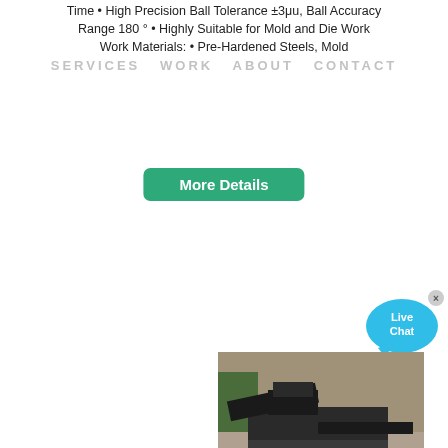Time • High Precision Ball Tolerance ±3μu, Ball Accuracy Range 180 ° • Highly Suitable for Mold and Die Work Work Materials: • Pre-Hardened Steels, Mold
SERVICES  WORK  ABOUT  CONTACT
More Details
[Figure (photo): Live Chat bubble icon in teal/cyan color with white text 'Live Chat' and a close X button]
[Figure (photo): Industrial mining/crushing machine with conveyor belts and equipment outdoors on rocky terrain]
COLOR:
Orange
Blue
Yellow
How to design parts for CNC machinin | Hubs